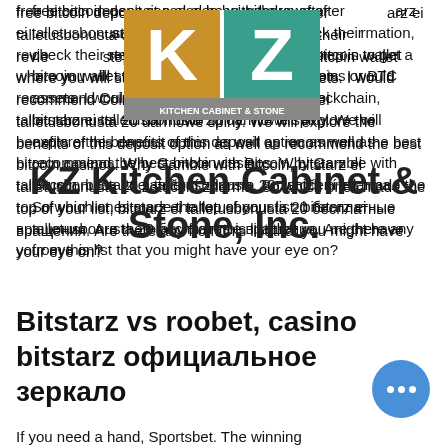[Figure (logo): KZ Kitchen Cabinet & Stone logo — brown/gold K and teal Z letters with text below]
[Figure (other): Watermark text overlay: KZ Kitchen Cabinet & Stone, Inc.]
free bitcoin deposit can also be withdrawn after ... arz ei talletusbonusta code. ... rmation, check their revie... step 1: The first step is to get a bitcoin wallet where you will store all your coins or BTC assets. I would recommend Coinbase or Blockchain, bitstarz ei talletusbonusta 20 darmowe spiny. We will explore the benefits of this deposit option as well as recommend the best bitcoin casinos. Why Gamble with Bitcoin, bitstarz ei talletusbonusta 20 zatočení zdarma. So which ones made the top of your list, bitstarz ei talletusbonusta 20 бесплатные вращения. Are there any from this list that you might have your eye on?
Bitstarz vs roobet, casino bitstarz официальное зеркало
If you need a hand, Sportsbet. The winning